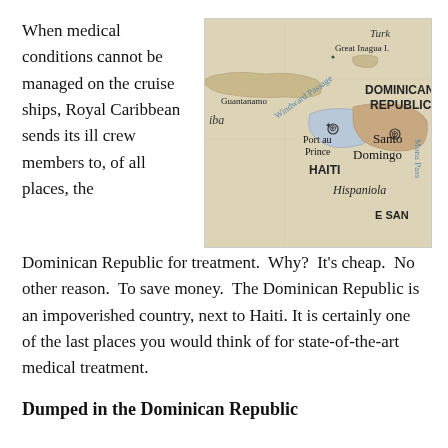When medical conditions cannot be managed on the cruise ships, Royal Caribbean sends its ill crew members to, of all places, the
[Figure (map): Close-up photograph of a map showing the Caribbean region including Haiti, Dominican Republic, Hispaniola, Port au Prince, Santo Domingo, Guantanamo, Windward Passage, Great Inagua I., and Mona Passage.]
Dominican Republic for treatment.  Why?  It's cheap.  No other reason.  To save money.  The Dominican Republic is an impoverished country, next to Haiti. It is certainly one of the last places you would think of for state-of-the-art medical treatment.
Dumped in the Dominican Republic